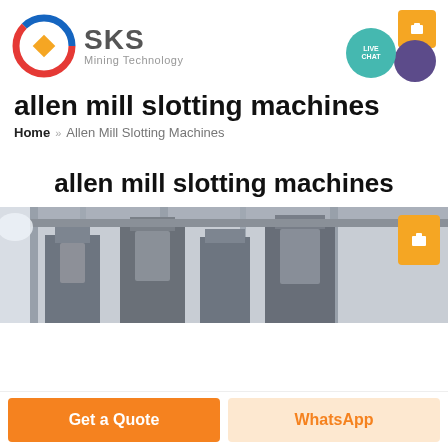[Figure (logo): SKS Mining Technology logo with circular red/blue emblem and gold diamond, company name and tagline]
[Figure (infographic): Live chat widget with teal circle showing LIVE CHAT text, purple speech bubble, and orange notification box]
allen mill slotting machines
Home » Allen Mill Slotting Machines
allen mill slotting machines
[Figure (photo): Industrial slotting machine in a factory/workshop setting, metal fabrication equipment]
Get a Quote
WhatsApp